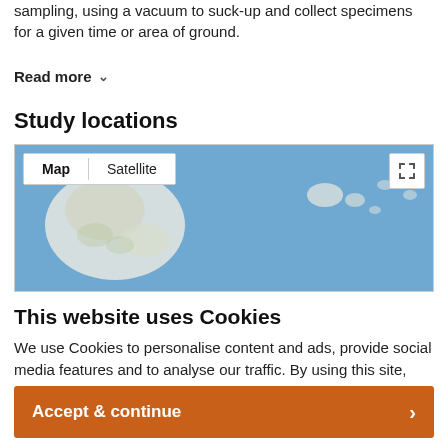sampling, using a vacuum to suck-up and collect specimens for a given time or area of ground.
Read more ∨
Study locations
[Figure (map): Google Maps embed showing a world map view with Map/Satellite toggle controls and fullscreen button. Blue ocean visible with white land masses.]
This website uses Cookies
We use Cookies to personalise content and ads, provide social media features and to analyse our traffic. By using this site, you will be providing your consent to our use of Cookies.
Accept & continue >